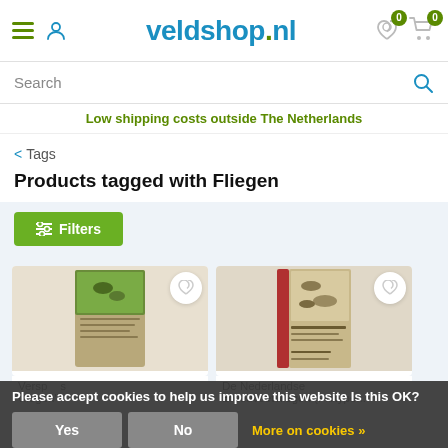veldshop.nl — navigation header with hamburger menu, user icon, logo, wishlist (0), cart (0)
Search
Low shipping costs outside The Netherlands
< Tags
Products tagged with Fliegen
≡ Filters
[Figure (photo): Book cover: Versp... vliegen]
[Figure (photo): Book cover: De Nederlandse Breedvoetvliegen (Platype...]
Versp... vliegen
De Nederlandse Breedvoetvliegen (Platype...
Please accept cookies to help us improve this website Is this OK?
Yes
No
More on cookies »